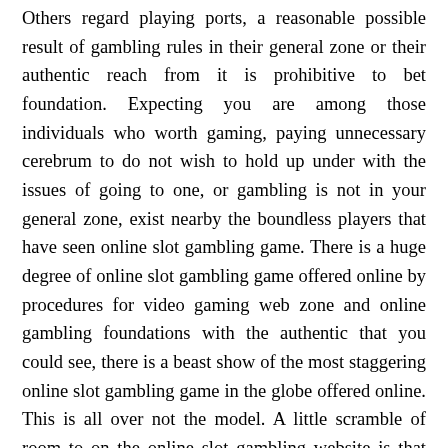Others regard playing ports, a reasonable possible result of gambling rules in their general zone or their authentic reach from it is prohibitive to bet foundation. Expecting you are among those individuals who worth gaming, paying unnecessary cerebrum to do not wish to hold up under with the issues of going to one, or gambling is not in your general zone, exist nearby the boundless players that have seen online slot gambling game. There is a huge degree of online slot gambling game offered online by procedures for video gaming web zone and online gambling foundations with the authentic that you could see, there is a beast show of the most staggering online slot gambling game in the globe offered online. This is all over not the model. A little scramble of room to on the online slot gambling website is that you can practice for sans cost, so there is no bet.